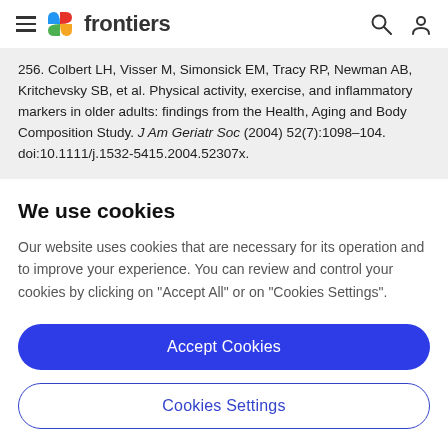frontiers
256. Colbert LH, Visser M, Simonsick EM, Tracy RP, Newman AB, Kritchevsky SB, et al. Physical activity, exercise, and inflammatory markers in older adults: findings from the Health, Aging and Body Composition Study. J Am Geriatr Soc (2004) 52(7):1098–104. doi:10.1111/j.1532-5415.2004.52307x.
We use cookies
Our website uses cookies that are necessary for its operation and to improve your experience. You can review and control your cookies by clicking on "Accept All" or on "Cookies Settings".
Accept Cookies
Cookies Settings